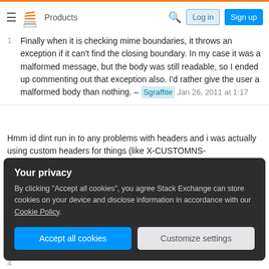Stack Exchange navigation bar with hamburger menu, logo, Products, search, Log in, Sign up
1 Finally when it is checking mime boundaries, it throws an exception if it can't find the closing boundary. In my case it was a malformed message, but the body was still readable, so I ended up commenting out that exception also. I'd rather give the user a malformed body than nothing. – Sgraffite Jan 26, 2011 at 1:17
Hmm id dint run in to any problems with headers and i was actually using custom headers for things (like X-CUSTOMNS-CUSTOMNAME). It will however throw an exception if you try to read a header that doesnt exist.. you must use $msg->hasHeader($header) personally i would rather it retun null, false or -1 instead of having to explicitly test... – prodigitalson Jan
Your privacy
By clicking "Accept all cookies", you agree Stack Exchange can store cookies on your device and disclose information in accordance with our Cookie Policy.
Accept all cookies  Customize settings